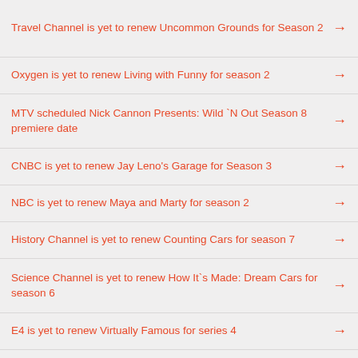Travel Channel is yet to renew Uncommon Grounds for Season 2
Oxygen is yet to renew Living with Funny for season 2
MTV scheduled Nick Cannon Presents: Wild `N Out Season 8 premiere date
CNBC is yet to renew Jay Leno's Garage for Season 3
NBC is yet to renew Maya and Marty for season 2
History Channel is yet to renew Counting Cars for season 7
Science Channel is yet to renew How It`s Made: Dream Cars for season 6
E4 is yet to renew Virtually Famous for series 4
Esquire Network is yet to renew Car Matchmaker for season 4
History Channel officially canceled Top Gear USA season 9
Netflix is yet to renew…